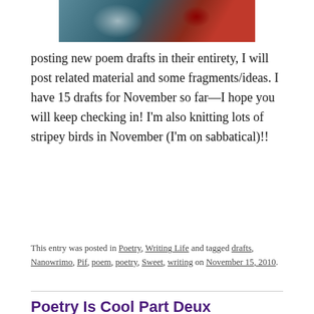[Figure (photo): Partial view of colorful knitted or fabric item with blue, teal, green, red and dark colors]
posting new poem drafts in their entirety, I will post related material and some fragments/ideas. I have 15 drafts for November so far—I hope you will keep checking in! I'm also knitting lots of stripey birds in November (I'm on sabbatical)!!
This entry was posted in Poetry, Writing Life and tagged drafts, Nanowrimo, Pif, poem, poetry, Sweet, writing on November 15, 2010.
Poetry Is Cool Part Deux
[Figure (photo): Close-up photo of a brown and white dog or animal looking up at camera, lying on a blue/grey surface]